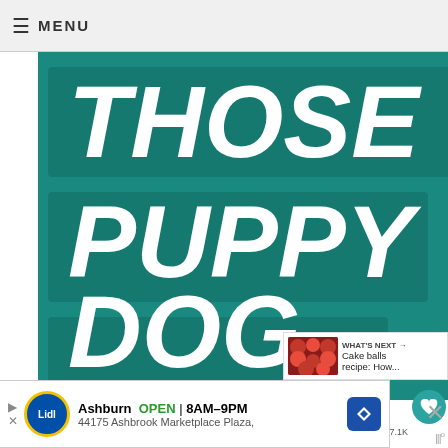≡ MENU
[Figure (photo): Teal/green background banner with bold white text reading 'THOSE PUPPY DOG EYES' and a brindle dog wearing a colorful geometric bow tie on the right side]
My only regret is that we can't share them in person!  Congrats Maria and Josh!  May the joy of parenting bring you laughter and happiness.......and a new set of hands in the kitchen!
[Figure (photo): What's Next thumbnail: Cake balls recipe image with text 'WHAT'S NEXT → Cake balls recipe: How...']
Ashburn  OPEN  8AM–9PM  44175 Ashbrook Marketplace Plaza,